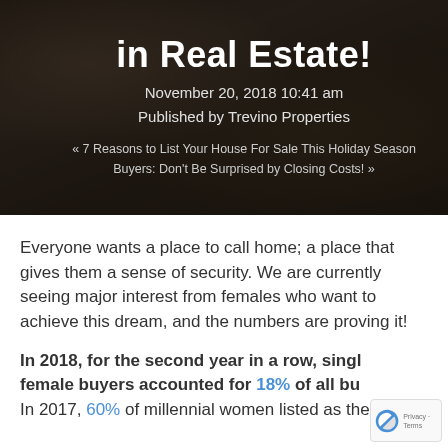in Real Estate!
November 20, 2018 10:41 am
Published by Trevino Properties
« 7 Reasons to List Your House For Sale This Holiday Season
Buyers: Don't Be Surprised by Closing Costs! »
Everyone wants a place to call home; a place that gives them a sense of security. We are currently seeing major interest from females who want to achieve this dream, and the numbers are proving it!
In 2018, for the second year in a row, single female buyers accounted for 18% of all bu...
In 2017, 60% of millennial women listed as the